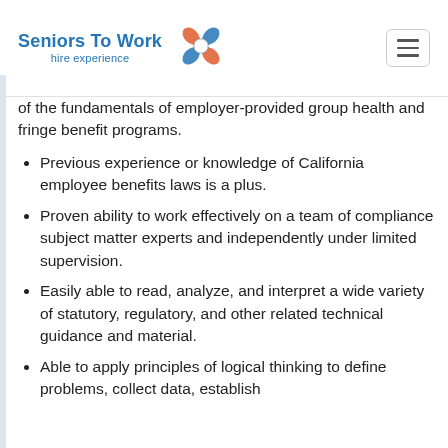Seniors To Work — hire experience
of the fundamentals of employer-provided group health and fringe benefit programs.
Previous experience or knowledge of California employee benefits laws is a plus.
Proven ability to work effectively on a team of compliance subject matter experts and independently under limited supervision.
Easily able to read, analyze, and interpret a wide variety of statutory, regulatory, and other related technical guidance and material.
Able to apply principles of logical thinking to define problems, collect data, establish